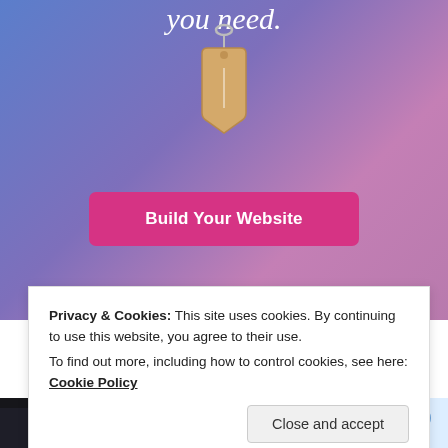[Figure (screenshot): Website builder promotional banner with blue-to-purple gradient background, a price tag illustration hanging from a ring, and italic white text 'you need.' at the top. Below is a pink 'Build Your Website' button.]
Privacy & Cookies: This site uses cookies. By continuing to use this website, you agree to their use.
To find out more, including how to control cookies, see here: Cookie Policy
Close and accept
[Figure (photo): Bottom strip: left side shows a dark close-up image (possibly wristwatch or mechanical object), right side shows a blue and white abstract or product image.]